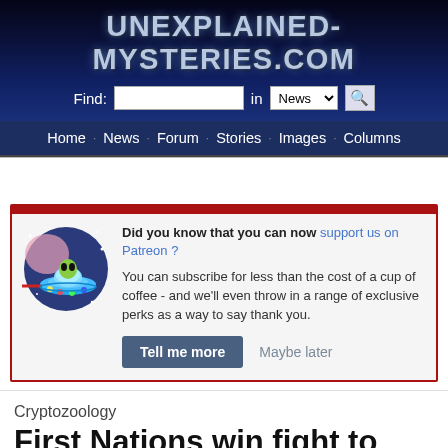UNEXPLAINED-MYSTERIES.COM
Find: [search box] in News [search button]
Home · News · Forum · Stories · Images · Columns
[Figure (screenshot): Patreon promotion box with alien UFO mascot illustration. Text reads: Did you know that you can now support us on Patreon? You can subscribe for less than the cost of a cup of coffee - and we'll even throw in a range of exclusive perks as a way to say thank you. Buttons: Tell me more, Maybe later]
Cryptozoology
First Nations win fight to reclaim Ogopogo